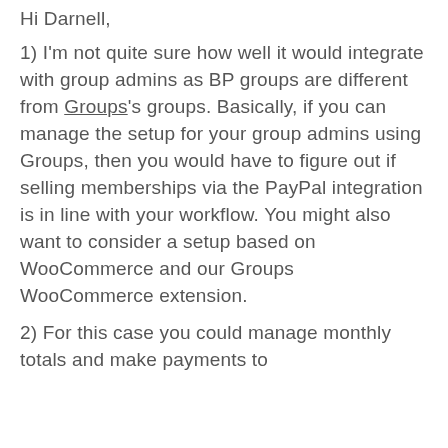Hi Darnell,
1) I'm not quite sure how well it would integrate with group admins as BP groups are different from Groups's groups. Basically, if you can manage the setup for your group admins using Groups, then you would have to figure out if selling memberships via the PayPal integration is in line with your workflow. You might also want to consider a setup based on WooCommerce and our Groups WooCommerce extension.
2) For this case you could manage monthly totals and make payments to